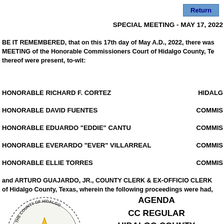Return
SPECIAL MEETING - MAY 17, 2022
BE IT REMEMBERED, that on this 17th day of May A.D., 2022, there was a SPECIAL MEETING of the Honorable Commissioners Court of Hidalgo County, Texas, and members thereof were present, to-wit:
HONORABLE RICHARD F. CORTEZ — HIDALGO
HONORABLE DAVID FUENTES — COMMIS
HONORABLE EDUARDO "EDDIE" CANTU — COMMIS
HONORABLE EVERARDO "EVER" VILLARREAL — COMMIS
HONORABLE ELLIE TORRES — COMMIS
and ARTURO GUAJARDO, JR., COUNTY CLERK & EX-OFFICIO CLERK of Hidalgo County, Texas, wherein the following proceedings were had,
[Figure (logo): Hidalgo County Texas official seal with star and wreath]
AGENDA CC REGULAR HIDALGO COUNTY COMMISSIONERS COURT M MAY 17, 2022 10:00 A.M.